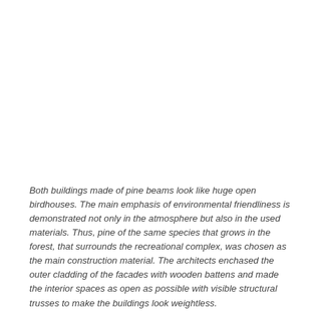Both buildings made of pine beams look like huge open birdhouses. The main emphasis of environmental friendliness is demonstrated not only in the atmosphere but also in the used materials. Thus, pine of the same species that grows in the forest, that surrounds the recreational complex, was chosen as the main construction material. The architects enchased the outer cladding of the facades with wooden battens and made the interior spaces as open as possible with visible structural trusses to make the buildings look weightless.